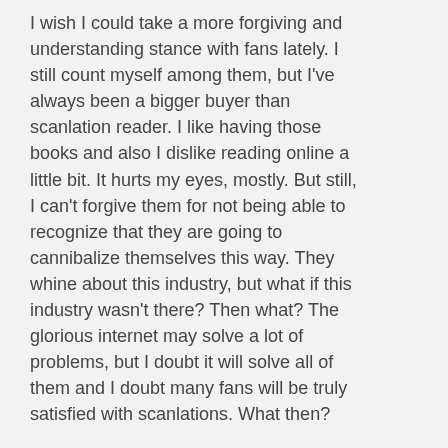I wish I could take a more forgiving and understanding stance with fans lately. I still count myself among them, but I've always been a bigger buyer than scanlation reader. I like having those books and also I dislike reading online a little bit. It hurts my eyes, mostly. But still, I can't forgive them for not being able to recognize that they are going to cannibalize themselves this way. They whine about this industry, but what if this industry wasn't there? Then what? The glorious internet may solve a lot of problems, but I doubt it will solve all of them and I doubt many fans will be truly satisfied with scanlations. What then?